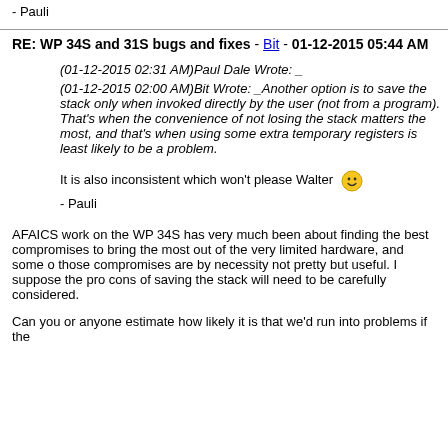- Pauli
RE: WP 34S and 31S bugs and fixes - Bit - 01-12-2015 05:44 AM
(01-12-2015 02:31 AM)Paul Dale Wrote: _
(01-12-2015 02:00 AM)Bit Wrote: _Another option is to save the stack only when invoked directly by the user (not from a program). That's when the convenience of not losing the stack matters the most, and that's when using some extra temporary registers is least likely to be a problem.
It is also inconsistent which won't please Walter 😊
- Pauli
AFAICS work on the WP 34S has very much been about finding the best compromises to bring the most out of the very limited hardware, and some of those compromises are by necessity not pretty but useful. I suppose the pros cons of saving the stack will need to be carefully considered.
Can you or anyone estimate how likely it is that we'd run into problems if the